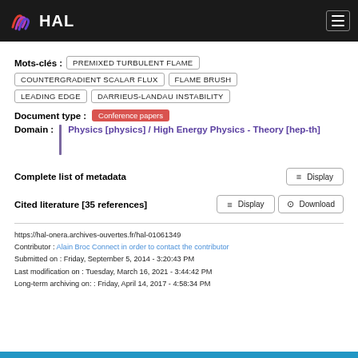[Figure (logo): HAL open archive logo with colorful wave icon and white HAL text on dark background]
Mots-clés : PREMIXED TURBULENT FLAME COUNTERGRADIENT SCALAR FLUX FLAME BRUSH LEADING EDGE DARRIEUS-LANDAU INSTABILITY
Document type : Conference papers
Domain : Physics [physics] / High Energy Physics - Theory [hep-th]
Complete list of metadata  Display
Cited literature [35 references]  Display  Download
https://hal-onera.archives-ouvertes.fr/hal-01061349
Contributor : Alain Broc Connect in order to contact the contributor
Submitted on : Friday, September 5, 2014 - 3:20:43 PM
Last modification on : Tuesday, March 16, 2021 - 3:44:42 PM
Long-term archiving on: : Friday, April 14, 2017 - 4:58:34 PM